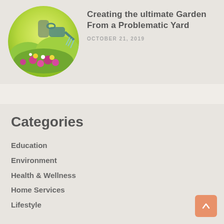[Figure (photo): Circular photo of a person watering colorful flowers in a garden with bright green and yellow background]
Creating the ultimate Garden From a Problematic Yard
OCTOBER 21, 2019
Categories
Education
Environment
Health & Wellness
Home Services
Lifestyle